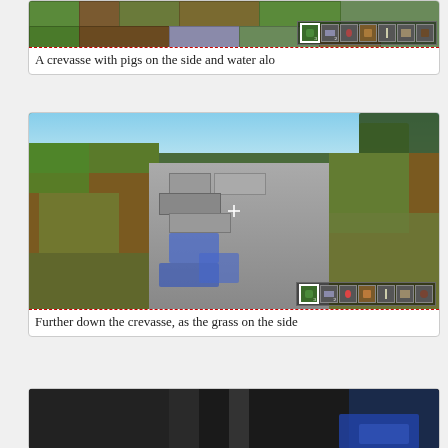[Figure (screenshot): Minecraft screenshot showing a crevasse with pigs on the side and water, with HUD inventory bar visible at bottom right. Partially visible at top of page.]
A crevasse with pigs on the side and water alo
[Figure (screenshot): Minecraft screenshot showing further down the crevasse, with grass on the sides, water visible at bottom of crevasse, and HUD inventory bar at bottom right.]
Further down the crevasse, as the grass on the side
[Figure (screenshot): Minecraft screenshot, partially visible at bottom of page, showing a dark scene with water visible.]